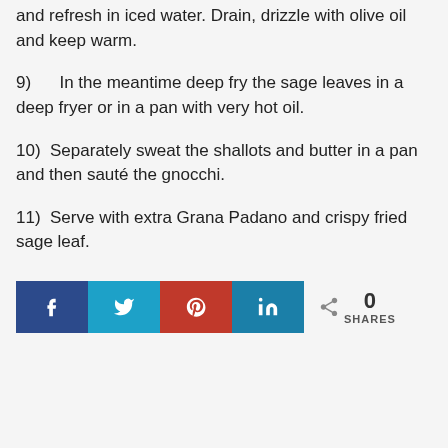and refresh in iced water. Drain, drizzle with olive oil and keep warm.
9)      In the meantime deep fry the sage leaves in a deep fryer or in a pan with very hot oil.
10)   Separately sweat the shallots and butter in a pan and then sauté the gnocchi.
11)   Serve with extra Grana Padano and crispy fried sage leaf.
[Figure (infographic): Social share bar with Facebook (blue), Twitter (cyan), Pinterest (red), LinkedIn (teal) buttons, and a share count showing 0 SHARES]